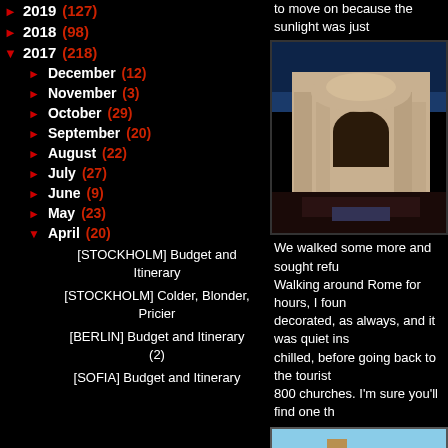2019 (127)
2018 (98)
2017 (218)
December (12)
November (3)
October (29)
September (20)
August (22)
July (27)
June (9)
May (23)
April (20)
[STOCKHOLM] Budget and Itinerary
[STOCKHOLM] Colder, Blonder, Pricier
[BERLIN] Budget and Itinerary (2)
[SOFIA] Budget and Itinerary
to move on because the sunlight was just...
[Figure (photo): Upward-angle photo of a Baroque church facade with ornate columns and decorations against a deep blue sky]
We walked some more and sought refuge... Walking around Rome for hours, I found... decorated, as always, and it was quiet ins... chilled, before going back to the tourist... 800 churches. I'm sure you'll find one th...
[Figure (photo): Photo of a building or structure against a blue sky, partially visible at bottom of page]